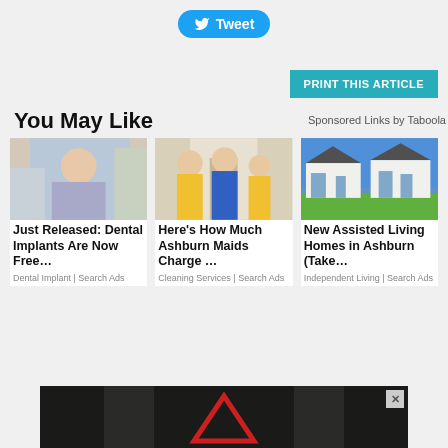[Figure (screenshot): Twitter Tweet button in blue]
[Figure (screenshot): Teal 'PRINT THIS ARTICLE' button]
You May Like
Sponsored Links by Taboola
[Figure (photo): Woman in grey dress standing outdoors]
Just Released: Dental Implants Are Now Free…
Dental Implant | Search Ads
[Figure (photo): Three women in blue uniforms holding cleaning supplies at a doorstep]
Here's How Much Ashburn Maids Charge …
Cleaning Services | Search Ads
[Figure (photo): White residential homes with green lawn under blue sky]
New Assisted Living Homes in Ashburn (Take…
Independent Living | Search Ads
[Figure (photo): Advertisement banner with dark background and red triangle logo]